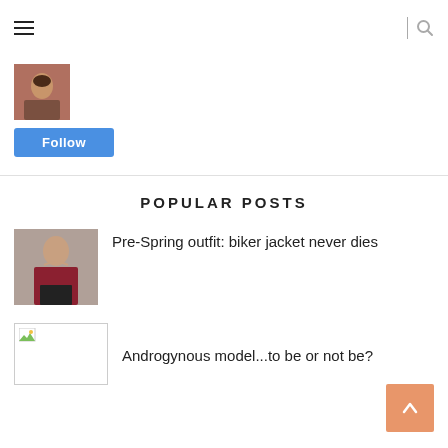Navigation header with hamburger menu and search icon
[Figure (photo): Small profile photo thumbnail of a woman with brown hair]
Follow
POPULAR POSTS
[Figure (photo): Thumbnail photo of a woman in a biker jacket]
Pre-Spring outfit: biker jacket never dies
[Figure (photo): Broken image thumbnail placeholder]
Androgynous model...to be or not be?